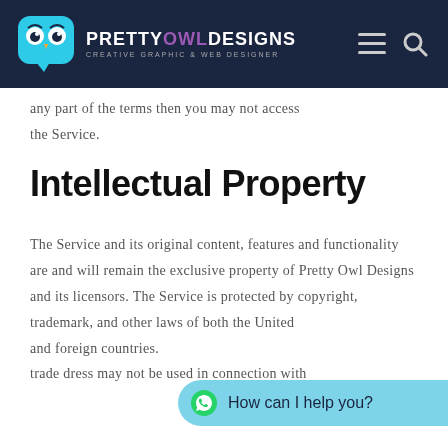PRETTY OWL DESIGNS - CREATIVE GRAPHIC & WEB DESIGNER
any part of the terms then you may not access the Service.
Intellectual Property
The Service and its original content, features and functionality are and will remain the exclusive property of Pretty Owl Designs and its licensors. The Service is protected by copyright, trademark, and other laws of both the United States and foreign countries. Our trademarks and trade dress may not be used in connection with